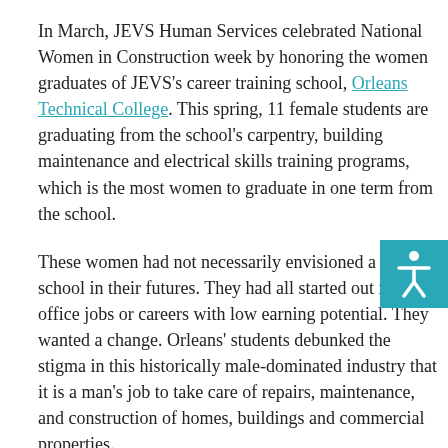In March, JEVS Human Services celebrated National Women in Construction week by honoring the women graduates of JEVS's career training school, Orleans Technical College. This spring, 11 female students are graduating from the school's carpentry, building maintenance and electrical skills training programs, which is the most women to graduate in one term from the school.
These women had not necessarily envisioned a trade school in their futures. They had all started out in office jobs or careers with low earning potential. They wanted a change. Orleans' students debunked the stigma in this historically male-dominated industry that it is a man's job to take care of repairs, maintenance, and construction of homes, buildings and commercial properties.
Althea, Laura and Melissa graduated recently from Orleans Tech and are moving on to pursue their careers in various areas of construction. Highlighting the details of their success...